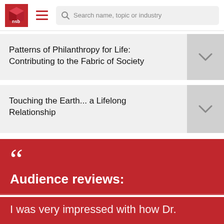nsb | Search name, topic or industry
Patterns of Philanthropy for Life: Contributing to the Fabric of Society
Touching the Earth... a Lifelong Relationship
“Audience reviews:
I was very impressed with how Dr.